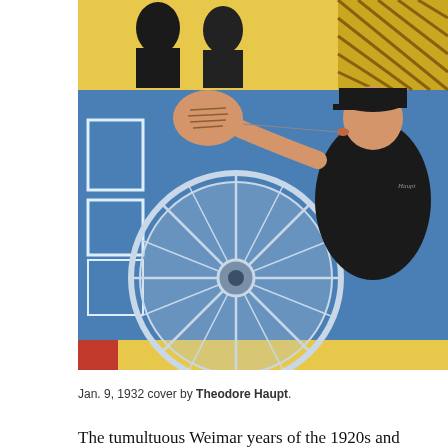[Figure (illustration): Jan. 9, 1932 New Yorker magazine cover illustration by Theodore Haupt, showing an Art Deco scene with a figure in a black coat and cap blowing into a horn or instrument, with a large automobile wheel visible, blue car body, red and yellow background elements, and silhouetted figures in the background.]
Jan. 9, 1932 cover by Theodore Haupt.
The tumultuous Weimar years of the 1920s and early 30s represented Germany's initial flirtation with democracy, an experimental age at once filled with post-war  angst and libertine ways, and this was especially true in Berlin where nearly every vice could be plied along its streets and alleyways and in countless clubs and cabarets. It was the setting for a decade of political turmoil, with communists   (rival Bolsheviks and Trotskyites) to the left and national socialists (later Nazis) to the right, and in the middle